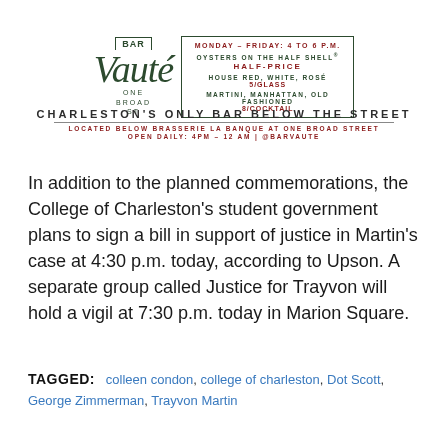[Figure (illustration): Bar Vauté advertisement showing logo with script font, 'ONE BROAD ST' text, and a bordered box with happy hour details: Monday–Friday 4–6 p.m., oysters on the half shell half-price, house red/white/rosé 5/glass, martini/manhattan/old fashioned 8/cocktail. Tagline: Charleston's Only Bar Below the Street. Located below Brasserie La Banque at One Broad Street. Open daily: 4PM – 12 AM | @BARVAUTE]
In addition to the planned commemorations, the College of Charleston's student government plans to sign a bill in support of justice in Martin's case at 4:30 p.m. today, according to Upson. A separate group called Justice for Trayvon will hold a vigil at 7:30 p.m. today in Marion Square.
TAGGED: colleen condon, college of charleston, Dot Scott, George Zimmerman, Trayvon Martin